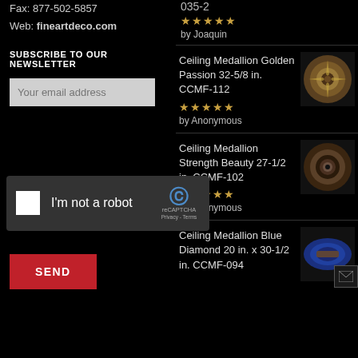Fax: 877-502-5857
Web: fineartdeco.com
SUBSCRIBE TO OUR NEWSLETTER
Your email address
[Figure (screenshot): reCAPTCHA widget with checkbox 'I'm not a robot' and reCAPTCHA logo with Privacy - Terms links]
SEND
035-2
★★★★★ by Joaquin
Ceiling Medallion Golden Passion 32-5/8 in. CCMF-112
★★★★½ by Anonymous
[Figure (photo): Ceiling Medallion Golden Passion product image - circular ornate gold medallion]
Ceiling Medallion Strength Beauty 27-1/2 in. CCMF-102
★★★★★ by Anonymous
[Figure (photo): Ceiling Medallion Strength Beauty product image - circular brown medallion with center hole]
Ceiling Medallion Blue Diamond 20 in. x 30-1/2 in. CCMF-094
[Figure (photo): Ceiling Medallion Blue Diamond product image - oval blue ornate medallion]